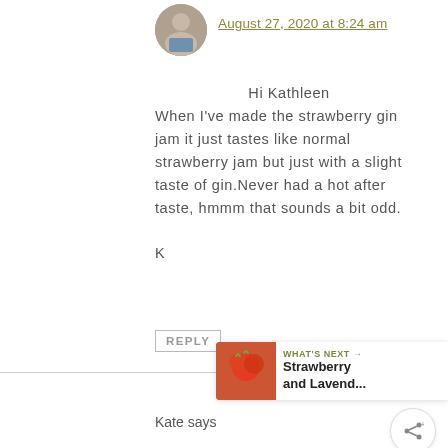[Figure (photo): Small circular avatar photo of a person]
August 27, 2020 at 8:24 am
Hi Kathleen
When I've made the strawberry gin jam it just tastes like normal strawberry jam but just with a slight taste of gin.Never had a hot after taste, hmmm that sounds a bit odd.
K
REPLY
[Figure (other): Heart/favorite button circle]
[Figure (other): Share button circle]
[Figure (other): What's Next banner with strawberry image and text: Strawberry and Lavend...]
Kate says